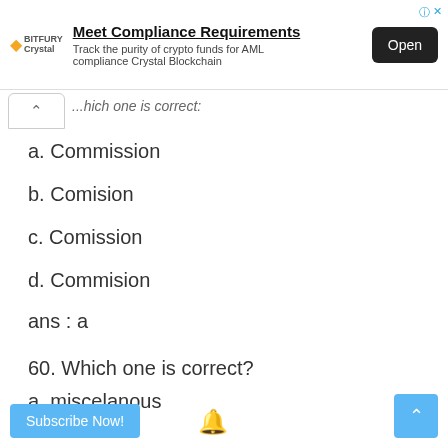[Figure (other): Advertisement banner for Crystal Blockchain with 'Meet Compliance Requirements' title, subtitle 'Track the purity of crypto funds for AML compliance Crystal Blockchain', and an 'Open' button]
...hich one is correct:
a. Commission
b. Comision
c. Comission
d. Commision
ans : a
60. Which one is correct?
a. miscelanous